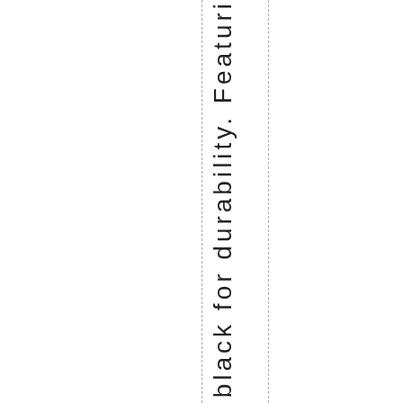anodized black for durability. Featuri